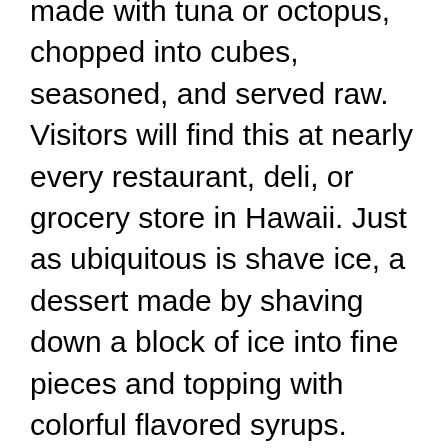made with tuna or octopus, chopped into cubes, seasoned, and served raw. Visitors will find this at nearly every restaurant, deli, or grocery store in Hawaii. Just as ubiquitous is shave ice, a dessert made by shaving down a block of ice into fine pieces and topping with colorful flavored syrups. Shave ice is often served on top of vanilla or coconut ice cream and topped with sweetened condensed milk; other popular additions are azuki beans or li hung mui (preserved plum) powder. Eat these at every opportunity; they are hard to come by outside of the islands.